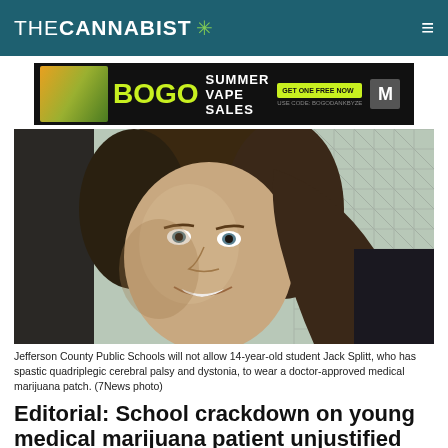THE CANNABIST
[Figure (photo): Advertisement banner: BOGO Summer Vape Sales with green text on black background]
[Figure (photo): Photo of 14-year-old Jack Splitt, a young boy smiling, with a chain-link fence visible in the background]
Jefferson County Public Schools will not allow 14-year-old student Jack Splitt, who has spastic quadriplegic cerebral palsy and dystonia, to wear a doctor-approved medical marijuana patch. (7News photo)
Editorial: School crackdown on young medical marijuana patient unjustified